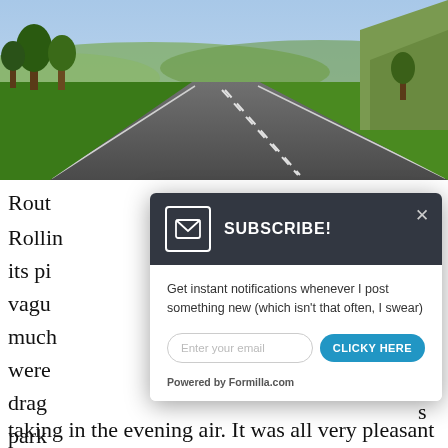[Figure (photo): A winding empty road through green rolling hills with trees on either side and blue sky above]
Rout
Rollin
its pi
vagu
much
were
drag
park
[Figure (screenshot): Email subscription popup with dark header showing envelope icon and SUBSCRIBE! title, close X button, body text 'Get instant notifications whenever I post something new (which isn't that often, I swear)', email input field, CLICKY HERE button, and Powered by Formilla.com footer]
taking in the evening air. It was all very pleasant